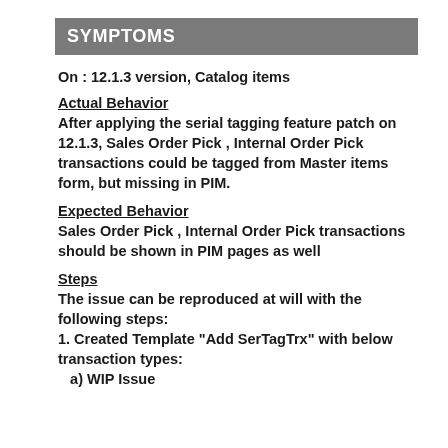SYMPTOMS
On : 12.1.3 version, Catalog items
Actual Behavior
After applying the serial tagging feature patch on 12.1.3,  Sales Order Pick , Internal Order Pick transactions could be tagged from Master items form, but missing in PIM.
Expected Behavior
Sales Order Pick , Internal Order Pick transactions should be shown in PIM pages as well
Steps
The issue can be reproduced at will with the following steps:
1. Created Template "Add SerTagTrx" with below transaction types:
   a) WIP Issue